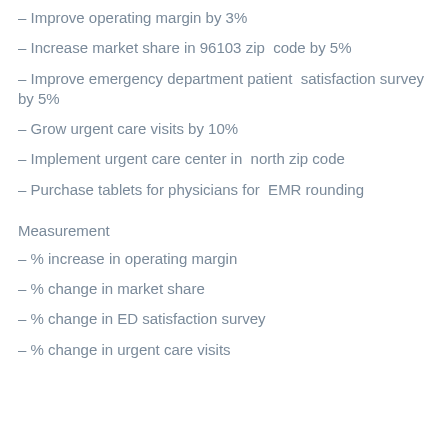– Improve operating margin by 3%
– Increase market share in 96103 zip  code by 5%
– Improve emergency department patient  satisfaction survey by 5%
– Grow urgent care visits by 10%
– Implement urgent care center in  north zip code
– Purchase tablets for physicians for  EMR rounding
Measurement
– % increase in operating margin
– % change in market share
– % change in ED satisfaction survey
– % change in urgent care visits